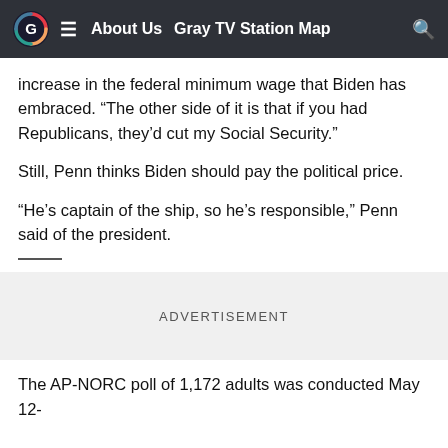About Us  Gray TV Station Map
increase in the federal minimum wage that Biden has embraced. “The other side of it is that if you had Republicans, they’d cut my Social Security.”
Still, Penn thinks Biden should pay the political price.
“He’s captain of the ship, so he’s responsible,” Penn said of the president.
ADVERTISEMENT
The AP-NORC poll of 1,172 adults was conducted May 12-